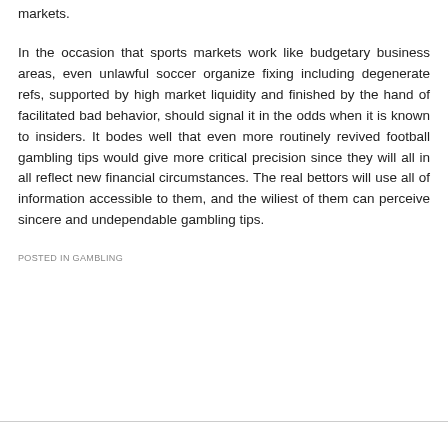markets.
In the occasion that sports markets work like budgetary business areas, even unlawful soccer organize fixing including degenerate refs, supported by high market liquidity and finished by the hand of facilitated bad behavior, should signal it in the odds when it is known to insiders. It bodes well that even more routinely revived football gambling tips would give more critical precision since they will all in all reflect new financial circumstances. The real bettors will use all of information accessible to them, and the wiliest of them can perceive sincere and undependable gambling tips.
POSTED IN GAMBLING